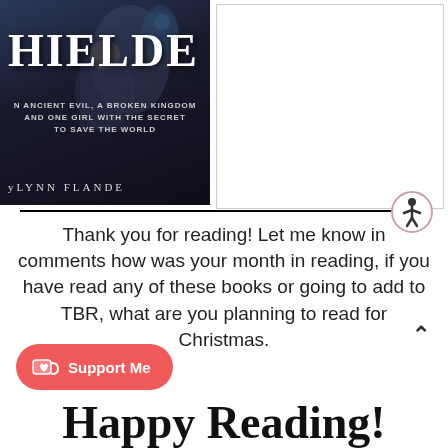[Figure (illustration): Book cover showing 'HIELDE' (partial title visible) with subtitle 'AN ANCIENT EVIL, A BROKEN KINGDOM AND ONE GIRL WITH THE SECRET TO SAVE THE WORLD' and author 'yLYNN FLANDE' (partially visible). Dark fantasy style cover with character artwork.]
[Figure (other): White/blank rectangular panel to the right of the book cover]
[Figure (other): Accessibility icon - circular icon with person symbol]
Thank you for reading! Let me know in comments how was your month in reading, if you have read any of these books or going to add to TBR, what are you planning to read for Christmas.
[Figure (logo): Ko-fi Support Me button - red/coral rounded button with coffee cup heart icon and text 'Support Me']
Happy Reading!